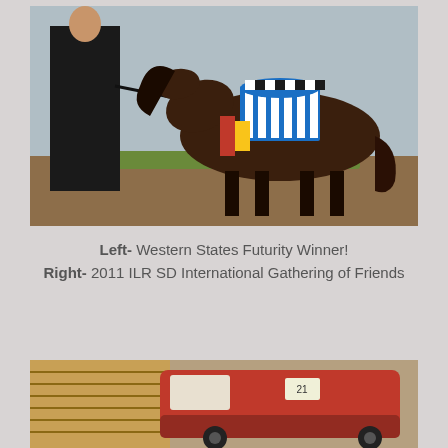[Figure (photo): A person in a dark coat standing next to a small dark miniature horse or pony decorated with blue, white, yellow and red show ribbons on its back, photographed outdoors against a light blue background.]
Left- Western States Futurity Winner!
Right- 2011 ILR SD International Gathering of Friends
[Figure (photo): A red vehicle or trailer partially visible, with a building or wooden structure in the background.]